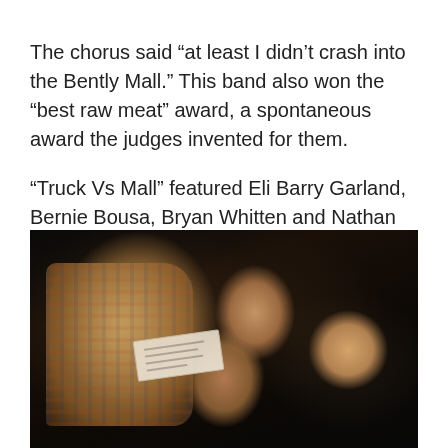The chorus said “at least I didn’t crash into the Bently Mall.” This band also won the “best raw meat” award, a spontaneous award the judges invented for them.
“Truck Vs Mall” featured Eli Barry Garland, Bernie Bousa, Bryan Whitten and Nathan Zody all bedecked in flowery boas and masks. They won best band and best cover as well, for a wild rendition of “F the Pain Away” by Peaches.
[Figure (photo): A dark concert/event photo showing four people laughing and celebrating together. One person in a plaid shirt appears to be holding or biting a piece of paper/envelope. Others are laughing with mouths open. One person on the right has a decorative headpiece. The photo has a dark background typical of a nightlife venue.]